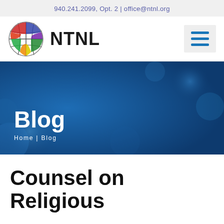940.241.2099, Opt. 2 | office@ntnl.org
[Figure (logo): NTNL organization logo: colorful globe icon divided into colored segments (red, blue, green, yellow, purple) with a cross/grid pattern, next to bold text 'NTNL']
[Figure (other): Hamburger menu icon with three horizontal blue bars on a light gray background]
[Figure (photo): Hero banner with dark blue background and subtle bokeh/light effects, containing the text 'Blog' as a large white heading and breadcrumb 'Home | Blog' below]
Counsel on Religious